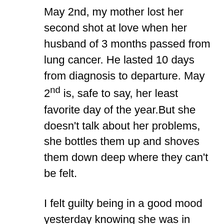May 2nd, my mother lost her second shot at love when her husband of 3 months passed from lung cancer. He lasted 10 days from diagnosis to departure. May 2nd is, safe to say, her least favorite day of the year.But she doesn't talk about her problems, she bottles them up and shoves them down deep where they can't be felt.
I felt guilty being in a good mood yesterday knowing she was in such pain. I couldn't help it. The sun was out, I was on the deck blogging in view of my beloved duck pond. I washed my truck without sucking wind and I was finally starting to feel better. I was grateful for all of the support I have gotten from friends, family and the WP community. As my buddy Bojana pointed out, I have been fortunate enough to have some